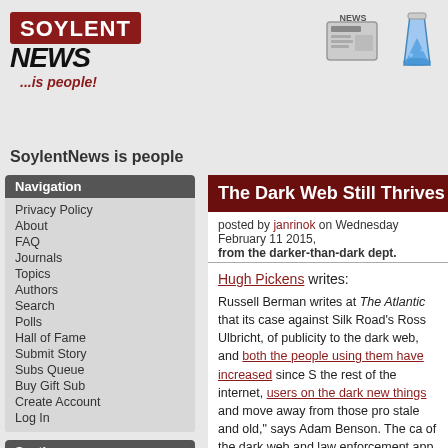[Figure (logo): Soylent News logo with red bar, NEWS italic text, and ...is people! tagline]
[Figure (illustration): News icon (newspaper graphic) and chemistry flask icon in header]
SoylentNews is people
Navigation
Privacy Policy
About
FAQ
Journals
Topics
Authors
Search
Polls
Hall of Fame
Submit Story
Subs Queue
Buy Gift Sub
Create Account
Log In
Sections
SoylentNews
The Dark Web Still Thrives After
posted by janrinok on Wednesday February 11 2015, from the darker-than-dark dept.
Hugh Pickens writes:

Russell Berman writes at The Atlantic that its case against Silk Road's Ross Ulbricht, of publicity to the dark web, and both the people using them have increased since S the rest of the internet, users on the dark new things and move away from those pro stale and old," says Adam Benson. The ca of the dark web and law enforcement app dark sites (two major ones are Agora and their servers by basing them in countries says Nicholas Weaver. "The markets will k enforcement will keep going after the dea people who actually ship and deliver the c